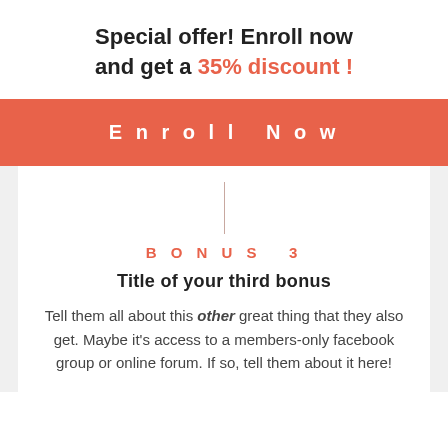Special offer! Enroll now and get a 35% discount !
Enroll Now
BONUS 3
Title of your third bonus
Tell them all about this other great thing that they also get. Maybe it's access to a members-only facebook group or online forum. If so, tell them about it here!